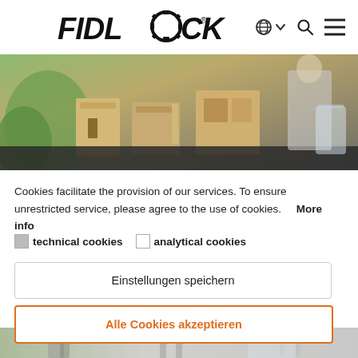FIDLOCK® 🌐 ∨ 🔍 ☰
[Figure (photo): Wooden box furniture/prototype models displayed on a dark table, with a person in the background and a transparent glass on the right side.]
Cookies facilitate the provision of our services. To ensure unrestricted service, please agree to the use of cookies.    More info
☑ technical cookies   ☐ analytical cookies
Einstellungen speichern
Alle Cookies akzeptieren
[Figure (photo): Bottom strip showing blurred motion of a person walking in what appears to be an indoor space with chairs visible.]